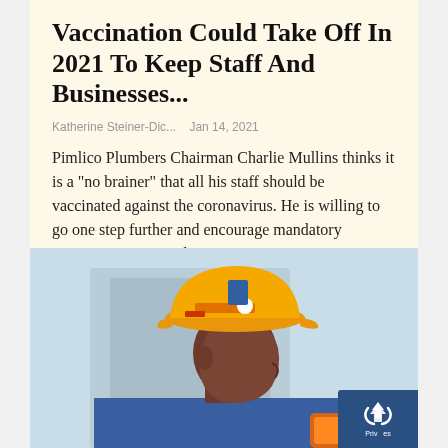Vaccination Could Take Off In 2021 To Keep Staff And Businesses...
Katherine Steiner-Dic...   Jan 14, 2021
Pimlico Plumbers Chairman Charlie Mullins thinks it is a "no brainer" that all his staff should be vaccinated against the coronavirus. He is willing to go one step further and encourage mandatory vaccination against the virus written into...
[Figure (illustration): Illustration of a construction worker wearing an orange hard hat, viewed from the side/back, holding a phone. Light blue background suggesting a building or van.]